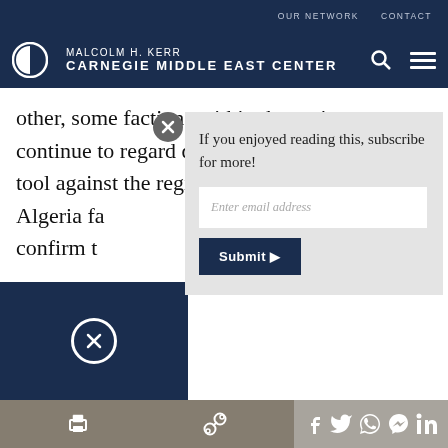OUR NETWORK   CONTACT
[Figure (logo): Malcolm H. Kerr Carnegie Middle East Center logo with navigation icons (search, menu)]
other, some factions within the regime continue to regard quietist Salafism as a useful tool against the regional, [text obscured by popup] Algeria fa[text obscured] confirm t[text obscured]
[Figure (screenshot): Subscription popup overlay with close button (X circle), text 'If you enjoyed reading this, subscribe for more!', email input field, and Submit button]
[Figure (infographic): Social sharing bar with print, link, Facebook, Twitter, WhatsApp, Messenger, and LinkedIn icons]